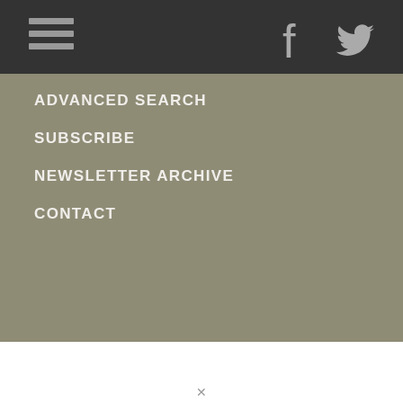Navigation header with hamburger menu, Facebook and Twitter icons
ADVANCED SEARCH
SUBSCRIBE
NEWSLETTER ARCHIVE
CONTACT